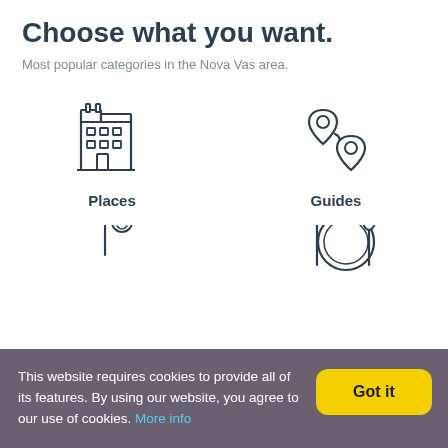Choose what you want.
Most popular categories in the Nova Vas area.
[Figure (illustration): Line-art icon of a multi-story building (hotel/places icon)]
Places
[Figure (illustration): Line-art icon of two map pin/location markers connected by a path (guides icon)]
Guides
[Figure (illustration): Partial line-art icon of a person with a flag/sign (partially visible at bottom)]
[Figure (illustration): Partial line-art icon of a plate with fork and spoon (restaurant/food icon, partially visible at bottom)]
This website requires cookies to provide all of its features. By using our website, you agree to our use of cookies. More info